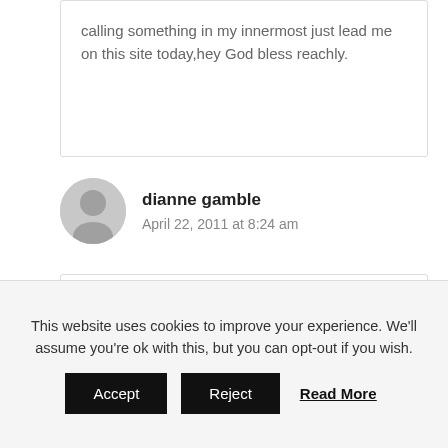calling something in my innermost just lead me on this site today,hey God bless reachly.
dianne gamble
April 22, 2011 at 8:24 am
i would love for you to send this book to pobox 1374 wadley ga 30477 please
This website uses cookies to improve your experience. We'll assume you're ok with this, but you can opt-out if you wish. Accept Reject Read More